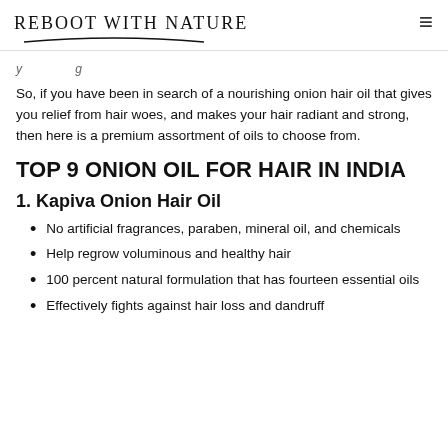REBOOT WITH NATURE
y...g...
So, if you have been in search of a nourishing onion hair oil that gives you relief from hair woes, and makes your hair radiant and strong, then here is a premium assortment of oils to choose from.
TOP 9 ONION OIL FOR HAIR IN INDIA
1. Kapiva Onion Hair Oil
No artificial fragrances, paraben, mineral oil, and chemicals
Help regrow voluminous and healthy hair
100 percent natural formulation that has fourteen essential oils
Effectively fights against hair loss and dandruff